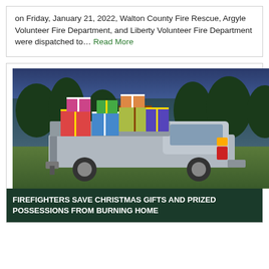on Friday, January 21, 2022, Walton County Fire Rescue, Argyle Volunteer Fire Department, and Liberty Volunteer Fire Department were dispatched to… Read More
[Figure (photo): Photo of a pickup truck bed loaded with wrapped Christmas gifts and boxes, taken outdoors at dusk with trees and a field in the background.]
FIREFIGHTERS SAVE CHRISTMAS GIFTS AND PRIZED POSSESSIONS FROM BURNING HOME